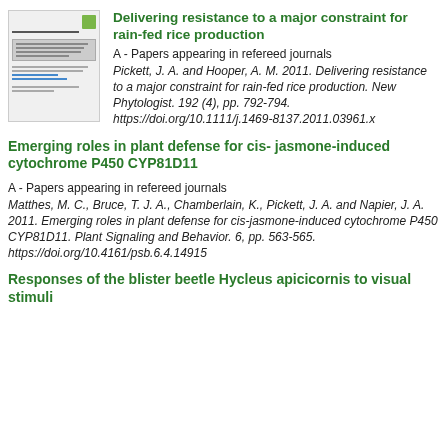Delivering resistance to a major constraint for rain-fed rice production
A - Papers appearing in refereed journals
Pickett, J. A. and Hooper, A. M. 2011. Delivering resistance to a major constraint for rain-fed rice production. New Phytologist. 192 (4), pp. 792-794. https://doi.org/10.1111/j.1469-8137.2011.03961.x
Emerging roles in plant defense for cis- jasmone-induced cytochrome P450 CYP81D11
A - Papers appearing in refereed journals
Matthes, M. C., Bruce, T. J. A., Chamberlain, K., Pickett, J. A. and Napier, J. A. 2011. Emerging roles in plant defense for cis-jasmone-induced cytochrome P450 CYP81D11. Plant Signaling and Behavior. 6, pp. 563-565. https://doi.org/10.4161/psb.6.4.14915
Responses of the blister beetle Hycleus apicicornis to visual stimuli